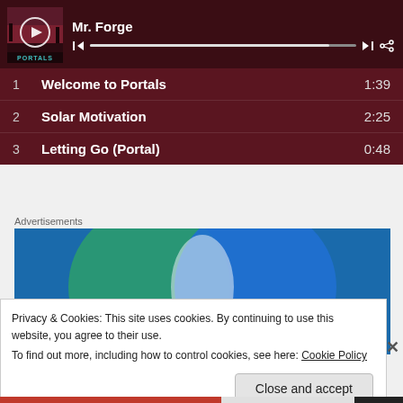[Figure (screenshot): Music player showing Mr. Forge album 'Portals' with play button, progress bar, skip and share controls]
1   Welcome to Portals   1:39
2   Solar Motivation   2:25
3   Letting Go (Portal)   0:48
Advertisements
[Figure (illustration): Advertisement showing two overlapping circles (Venn diagram style) - green circle on left with text 'Everything you need', blue circle on right with text 'Anything you want', overlapping area in center with light glow]
Privacy & Cookies: This site uses cookies. By continuing to use this website, you agree to their use.
To find out more, including how to control cookies, see here: Cookie Policy
Close and accept